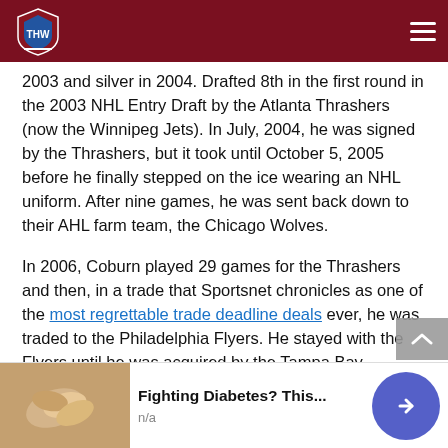THW Hockey Writers
2003 and silver in 2004. Drafted 8th in the first round in the 2003 NHL Entry Draft by the Atlanta Thrashers (now the Winnipeg Jets). In July, 2004, he was signed by the Thrashers, but it took until October 5, 2005 before he finally stepped on the ice wearing an NHL uniform. After nine games, he was sent back down to their AHL farm team, the Chicago Wolves.
In 2006, Coburn played 29 games for the Thrashers and then, in a trade that Sportsnet chronicles as one of the most regrettable trade deadline deals ever, he was traded to the Philadelphia Flyers. He stayed with the Flyers until he was acquired by the Tampa Bay Lightning in time for the 2015 Playoffs — just before the 2015 NHL trade deadline.
[Figure (other): Advertisement banner: Fighting Diabetes? This... n/a]